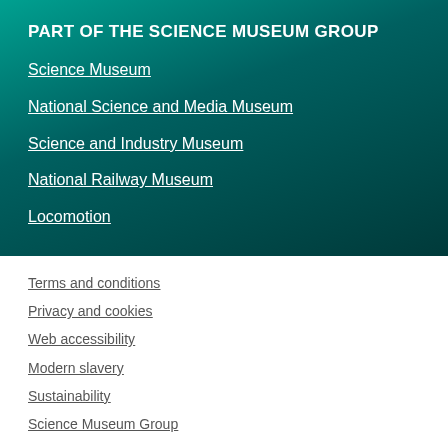PART OF THE SCIENCE MUSEUM GROUP
Science Museum
National Science and Media Museum
Science and Industry Museum
National Railway Museum
Locomotion
Terms and conditions
Privacy and cookies
Web accessibility
Modern slavery
Sustainability
Science Museum Group